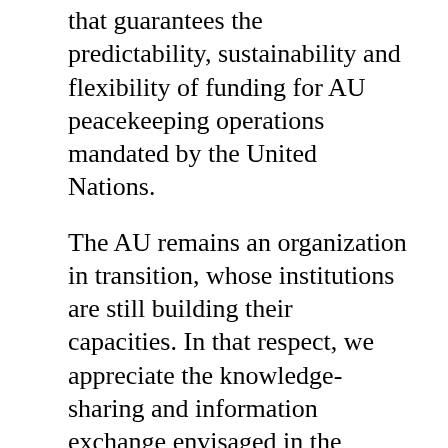that guarantees the predictability, sustainability and flexibility of funding for AU peacekeeping operations mandated by the United Nations.
The AU remains an organization in transition, whose institutions are still building their capacities. In that respect, we appreciate the knowledge-sharing and information exchange envisaged in the Secretary General's report, in particular in relation to preventive diplomacy efforts, such as mediation and early warning. In Nigeria's view, a hybrid mission like the African Union-United Nations Hybrid Operation in Darfur (UNAMID) would benefit from a collaborative field mission to enhance synergy in monitoring, the assessment of results and response strategies. Through such collaboration, the AU might also benefit from best